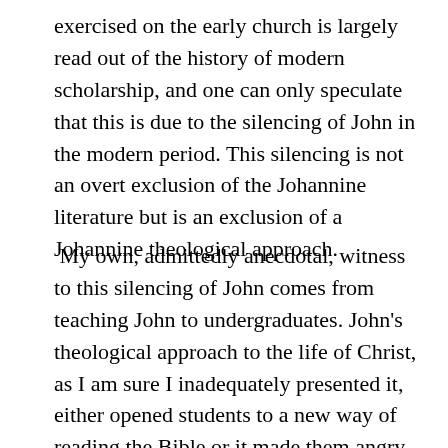exercised on the early church is largely read out of the history of modern scholarship, and one can only speculate that this is due to the silencing of John in the modern period. This silencing is not an overt exclusion of the Johannine literature but is an exclusion of a Johannine theological approach.
My own, admittedly anecdotal, witness to this silencing of John comes from teaching John to undergraduates. John's theological approach to the life of Christ, as I am sure I inadequately presented it, either opened students to a new way of reading the Bible or it made them angry. Students attenuated to a flat reading of the life of Christ through a flat reading of the synoptics